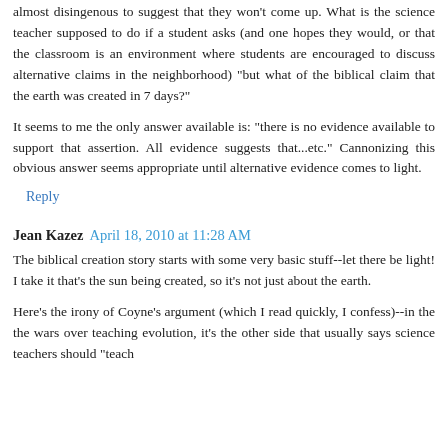almost disingenous to suggest that they won't come up. What is the science teacher supposed to do if a student asks (and one hopes they would, or that the classroom is an environment where students are encouraged to discuss alternative claims in the neighborhood) "but what of the biblical claim that the earth was created in 7 days?"
It seems to me the only answer available is: "there is no evidence available to support that assertion. All evidence suggests that...etc." Cannonizing this obvious answer seems appropriate until alternative evidence comes to light.
Reply
Jean Kazez  April 18, 2010 at 11:28 AM
The biblical creation story starts with some very basic stuff--let there be light! I take it that's the sun being created, so it's not just about the earth.
Here's the irony of Coyne's argument (which I read quickly, I confess)--in the the wars over teaching evolution, it's the other side that usually says science teachers should "teach